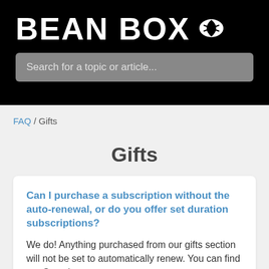BEAN BOX
Search for a topic or article...
FAQ / Gifts
Gifts
Can I purchase a subscription without the auto-renewal, or do you offer set duration subscriptions?
We do! Anything purchased from our gifts section will not be set to automatically renew. You can find our Sampler